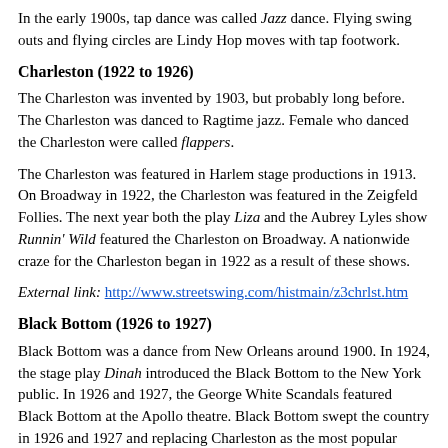In the early 1900s, tap dance was called Jazz dance. Flying swing outs and flying circles are Lindy Hop moves with tap footwork.
Charleston (1922 to 1926)
The Charleston was invented by 1903, but probably long before. The Charleston was danced to Ragtime jazz. Female who danced the Charleston were called flappers.
The Charleston was featured in Harlem stage productions in 1913. On Broadway in 1922, the Charleston was featured in the Zeigfeld Follies. The next year both the play Liza and the Aubrey Lyles show Runnin' Wild featured the Charleston on Broadway. A nationwide craze for the Charleston began in 1922 as a result of these shows.
External link: http://www.streetswing.com/histmain/z3chrlst.htm
Black Bottom (1926 to 1927)
Black Bottom was a dance from New Orleans around 1900. In 1924, the stage play Dinah introduced the Black Bottom to the New York public. In 1926 and 1927, the George White Scandals featured Black Bottom at the Apollo theatre. Black Bottom swept the country in 1926 and 1927 and replacing Charleston as the most popular social dance.